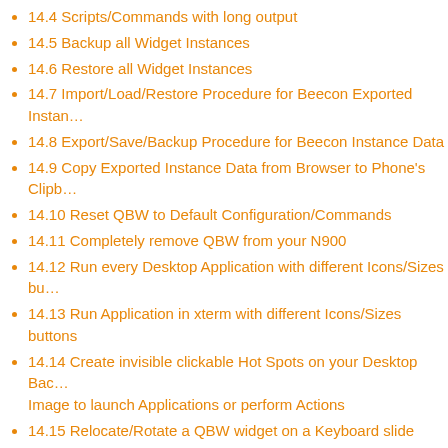14.4 Scripts/Commands with long output
14.5 Backup all Widget Instances
14.6 Restore all Widget Instances
14.7 Import/Load/Restore Procedure for Beecon Exported Instances
14.8 Export/Save/Backup Procedure for Beecon Instance Data
14.9 Copy Exported Instance Data from Browser to Phone's Clipboard
14.10 Reset QBW to Default Configuration/Commands
14.11 Completely remove QBW from your N900
14.12 Run every Desktop Application with different Icons/Sizes bu
14.13 Run Application in xterm with different Icons/Sizes buttons
14.14 Create invisible clickable Hot Spots on your Desktop Background Image to launch Applications or perform Actions
14.15 Relocate/Rotate a QBW widget on a Keyboard slide event
14.16 FAQs
14.16.1 Could you make an easy way to install new beecons, please?
15 Easter Eggs
15.1 Magic Word for bypassing Export/Import Instance Data Checksum protection
16 Troubleshooting